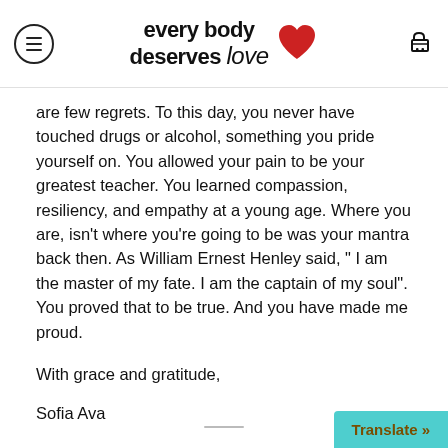every body deserves love
are few regrets. To this day, you never have touched drugs or alcohol, something you pride yourself on. You allowed your pain to be your greatest teacher. You learned compassion, resiliency, and empathy at a young age. Where you are, isn't where you're going to be was your mantra back then. As William Ernest Henley said, " I am the master of my fate. I am the captain of my soul". You proved that to be true. And you have made me proud.
With grace and gratitude,
Sofia Ava